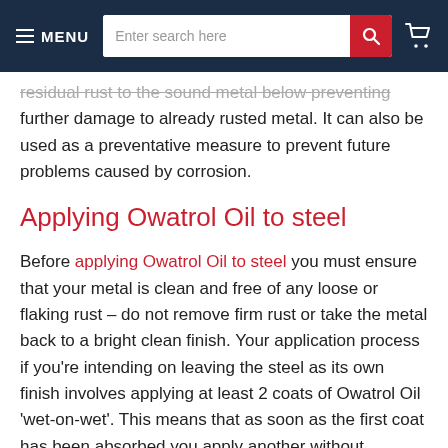MENU | [search bar] | [cart]
residual rust to the sound metal below preventing further damage to already rusted metal. It can also be used as a preventative measure to prevent future problems caused by corrosion.
Applying Owatrol Oil to steel
Before applying Owatrol Oil to steel you must ensure that your metal is clean and free of any loose or flaking rust – do not remove firm rust or take the metal back to a bright clean finish. Your application process if you're intending on leaving the steel as its own finish involves applying at least 2 coats of Owatrol Oil 'wet-on-wet'. This means that as soon as the first coat has been absorbed you apply another without allowing it to dry. Depending on the condition of your steel you may need to use more than 2 coats. You